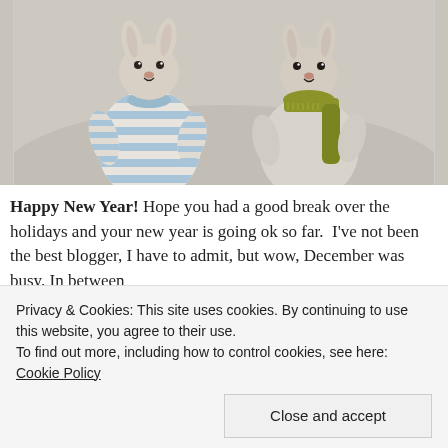[Figure (photo): Two knitted stuffed bunnies/rabbits side by side. The left bunny wears a blue and white striped sweater, the right bunny wears a yellow-green/olive knitted scarf. Both have small embroidered faces with button eyes and stitched noses. Background is a soft grey/beige fabric.]
Happy New Year! Hope you had a good break over the holidays and your new year is going ok so far.  I've not been the best blogger, I have to admit, but wow, December was busy. In between
Privacy & Cookies: This site uses cookies. By continuing to use this website, you agree to their use.
To find out more, including how to control cookies, see here: Cookie Policy
Close and accept